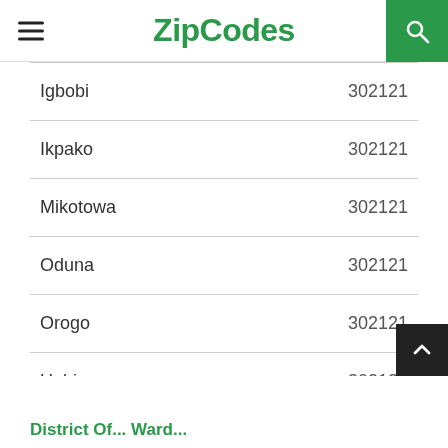ZipCodes
| Area | Zip Code |
| --- | --- |
| Igbobi | 302121 |
| Ikpako | 302121 |
| Mikotowa | 302121 |
| Oduna | 302121 |
| Orogo | 302121 |
| Ugbine | 302121 |
| Ughoton | 30212... |
District Of... Ward...